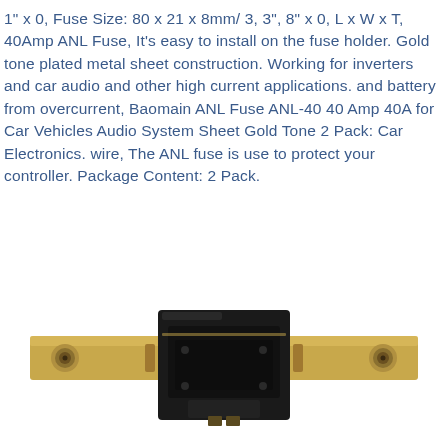1" x 0, Fuse Size: 80 x 21 x 8mm/ 3, 3", 8" x 0, L x W x T, 40Amp ANL Fuse, It's easy to install on the fuse holder. Gold tone plated metal sheet construction. Working for inverters and car audio and other high current applications. and battery from overcurrent, Baomain ANL Fuse ANL-40 40 Amp 40A for Car Vehicles Audio System Sheet Gold Tone 2 Pack: Car Electronics. wire, The ANL fuse is use to protect your controller. Package Content: 2 Pack.
[Figure (photo): Close-up photo of a gold-tone ANL fuse with a black plastic center body. The fuse has flat gold-colored metal blade terminals extending left and right, and a dark black rectangular housing in the middle with a small connector/terminal visible at the bottom center.]